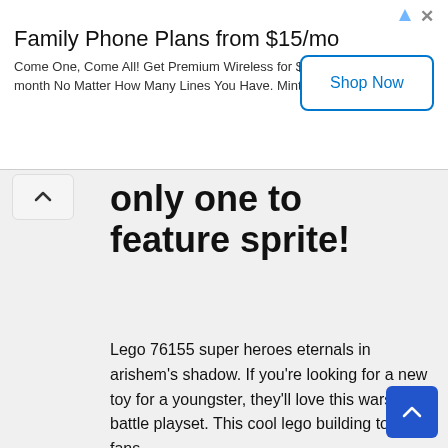[Figure (screenshot): Advertisement banner for Mint Mobile: 'Family Phone Plans from $15/mo' with a 'Shop Now' button]
only one to feature sprite!
Lego 76155 super heroes eternals in arishem's shadow. If you're looking for a new toy for a youngster, they'll love this warship battle playset. This cool lego building toy lets fans.
Limit 3 per customer combine all the fun elements of the marvel studios' the eternals